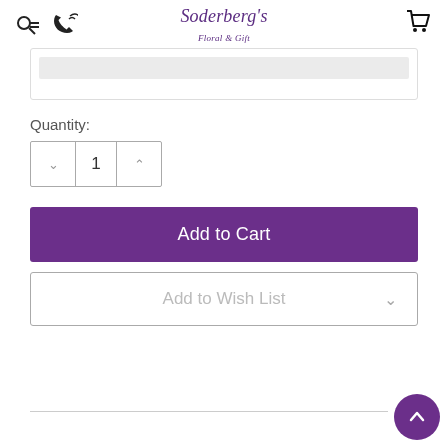Soderberg's Floral & Gift
[Figure (screenshot): Input/text field area with a gray bar at top inside a bordered box]
Quantity:
[Figure (other): Quantity stepper control with down arrow, value 1, and up arrow]
Add to Cart
Add to Wish List
[Figure (other): Scroll to top button - purple circle with up chevron]